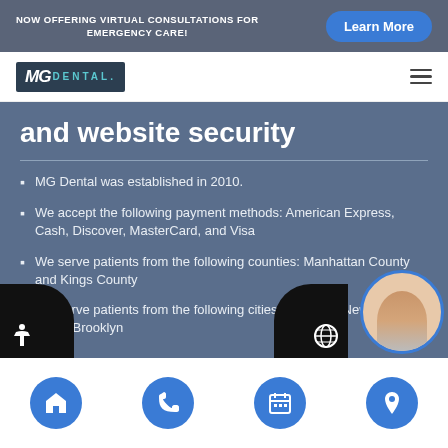NOW OFFERING VIRTUAL CONSULTATIONS FOR EMERGENCY CARE!
[Figure (logo): MG Dental logo with dark background]
and website security
MG Dental was established in 2010.
We accept the following payment methods: American Express, Cash, Discover, MasterCard, and Visa
We serve patients from the following counties: Manhattan County and Kings County
We serve patients from the following cities: Brooklyn, New York and South Brooklyn